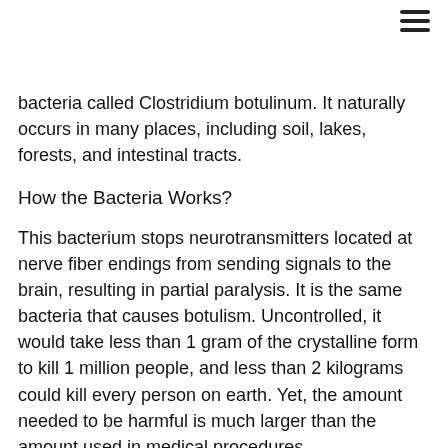bacteria called Clostridium botulinum. It naturally occurs in many places, including soil, lakes, forests, and intestinal tracts.
How the Bacteria Works?
This bacterium stops neurotransmitters located at nerve fiber endings from sending signals to the brain, resulting in partial paralysis. It is the same bacteria that causes botulism. Uncontrolled, it would take less than 1 gram of the crystalline form to kill 1 million people, and less than 2 kilograms could kill every person on earth. Yet, the amount needed to be harmful is much larger than the amount used in medical procedures.
Are There Different Types of Botox?
Scientists currently recognize seven types of Botox, and scientists find new types occasionally. Of those, doctors